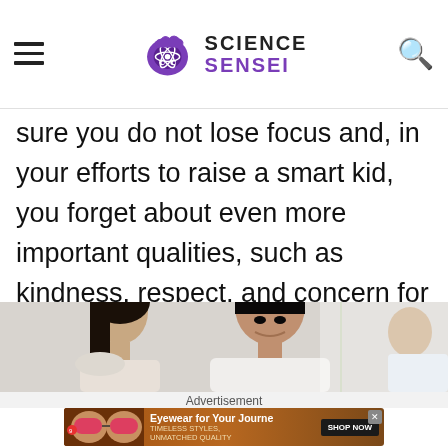Science Sensei
sure you do not lose focus and, in your efforts to raise a smart kid, you forget about even more important qualities, such as kindness, respect, and concern for the less fortunate.
[Figure (photo): Two Asian adults, a woman and a man, looking at something together, possibly helping a child (partially visible at right edge), in a bright indoor setting.]
Advertisement
[Figure (screenshot): Advertisement banner: Eyewear for Your Journey - Timeless Styles, Unmatched Quality - Shop Now button, showing models wearing sunglasses]